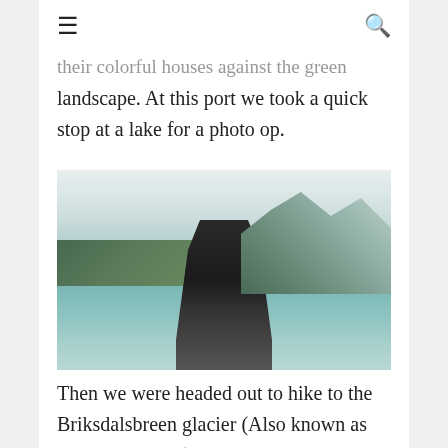≡  🔍
their colorful houses against the green landscape. At this port we took a quick stop at a lake for a photo op.
[Figure (photo): A woman holding a young child in front of a scenic Norwegian glacial lake surrounded by steep green and snow-capped mountains with turquoise water.]
Then we were headed out to hike to the Briksdalsbreen glacier (Also known as Briksdal glacier). Hiking this trail